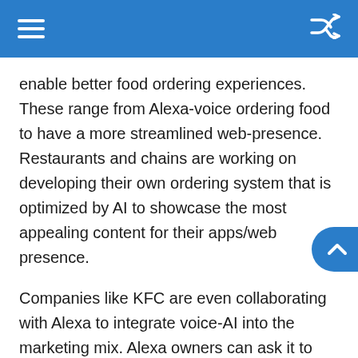enable better food ordering experiences. These range from Alexa-voice ordering food to have a more streamlined web-presence. Restaurants and chains are working on developing their own ordering system that is optimized by AI to showcase the most appealing content for their apps/web presence.
Companies like KFC are even collaborating with Alexa to integrate voice-AI into the marketing mix. Alexa owners can ask it to order some KFC via simple voice command. The device even shares engaging insights from the life of the founder as well. This is a great way to extend the story of KFC and incorporate a unique food ordering system as well. Through this voice-enabled AI process, they're trying to build a new